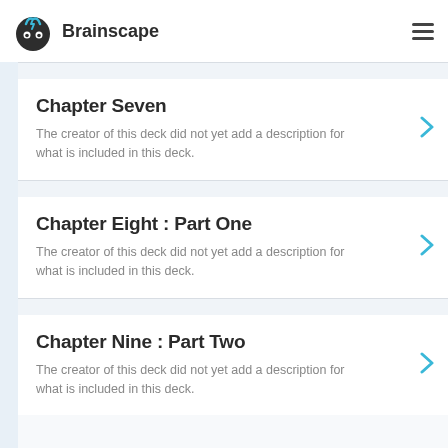Brainscape
Chapter Seven
The creator of this deck did not yet add a description for what is included in this deck.
Chapter Eight : Part One
The creator of this deck did not yet add a description for what is included in this deck.
Chapter Nine : Part Two
The creator of this deck did not yet add a description for what is included in this deck.